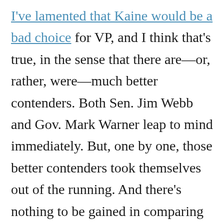I've lamented that Kaine would be a bad choice for VP, and I think that's true, in the sense that there are—or, rather, were—much better contenders. Both Sen. Jim Webb and Gov. Mark Warner leap to mind immediately. But, one by one, those better contenders took themselves out of the running. And there's nothing to be gained in comparing the available candidates against hypothetical candidates. From the field of individuals understood to be contenders for Obama's vice presidential nominee right now, I think